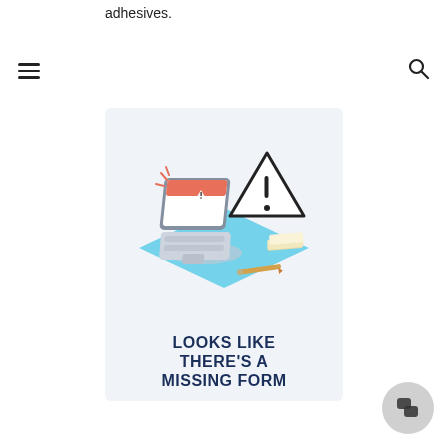adhesives.
[Figure (illustration): Navigation bar with hamburger menu icon on the left and search icon on the right]
[Figure (illustration): Error page illustration: isometric laptop with warning/error screen, a warning triangle sign with exclamation mark, papers and a pencil on a blue surface, with bold text reading LOOKS LIKE THERE'S A MISSING FORM]
[Figure (illustration): Chat button icon in bottom right corner]